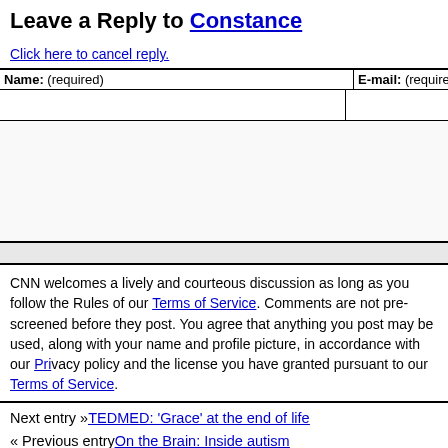Leave a Reply to Constance
Click here to cancel reply.
| Name: (required) | E-mail: (required, but will not be published) |
| --- | --- |
|  |  |
CNN welcomes a lively and courteous discussion as long as you follow the Rules of our Terms of Service. Comments are not pre-screened before they post. You agree that anything you post may be used, along with your name and profile picture, in accordance with our Privacy Policy and the license you have granted pursuant to our Terms of Service.
Next entry »TEDMED: 'Grace' at the end of life
« Previous entryOn the Brain: Inside autism